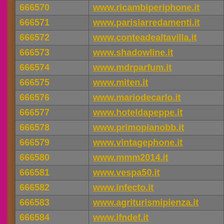| ID | URL |
| --- | --- |
| 666570 | www.ricambiperiphone.it |
| 666571 | www.parisiarredamenti.it |
| 666572 | www.conteadealtavilla.it |
| 666573 | www.shadowline.it |
| 666574 | www.mdrparfum.it |
| 666575 | www.miten.it |
| 666576 | www.mariodecarlo.it |
| 666577 | www.hoteldapeppe.it |
| 666578 | www.primopianobb.it |
| 666579 | www.vintagephone.it |
| 666580 | www.mmm2014.it |
| 666581 | www.vespa50.it |
| 666582 | www.infecto.it |
| 666583 | www.agriturismipienza.it |
| 666584 | www.ifndef.it |
| 666585 | www.tdme.it |